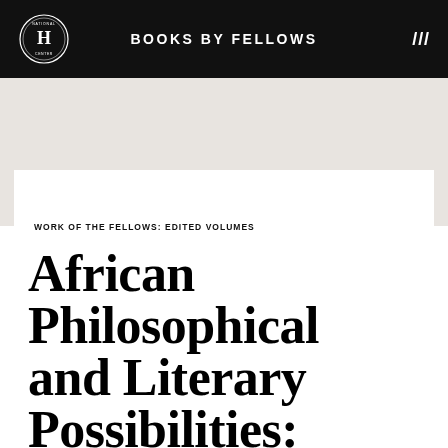BOOKS BY FELLOWS
WORK OF THE FELLOWS: EDITED VOLUMES
African Philosophical and Literary Possibilities: Re-reading the Ca...